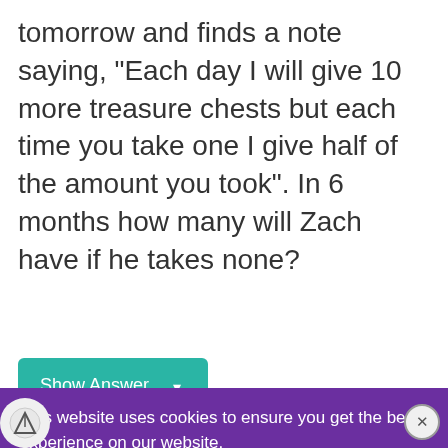tomorrow and finds a note saying, "Each day I will give 10 more treasure chests but each time you take one I give half of the amount you took". In 6 months how many will Zach have if he takes none?
[Figure (screenshot): Teal 'Show Answer' dropdown button]
[Figure (screenshot): Cookie consent overlay with purple background reading 'This website uses cookies to ensure you get the best experience on our website.' with Learn more link and Got it! button]
[Figure (screenshot): HEADERBIDDING.COM advertisement banner - 'Your source for all things programmatic advertising.']